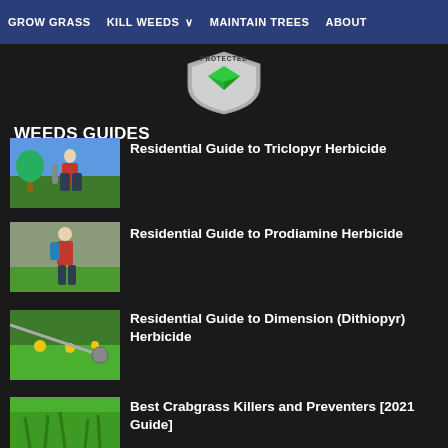GROW GRASS | KILL WEEDS | MAINTAIN TREES | ABOUT
[Figure (logo): Protected shield badge with green checkmark]
WEEDS GUIDES
[Figure (photo): Person using garden trimmer near green bushes and blue sky]
Residential Guide to Triclopyr Herbicide
[Figure (photo): Person with backpack sprayer on green lawn]
Residential Guide to Prodiamine Herbicide
[Figure (photo): Dandelions in grass with trimmer tool]
Residential Guide to Dimension (Dithiopyr) Herbicide
[Figure (photo): Green grass lawn close-up]
Best Crabgrass Killers and Preventers [2021 Guide]